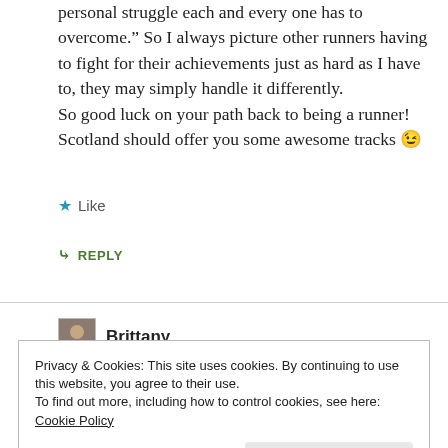personal struggle each and every one has to overcome." So I always picture other runners having to fight for their achievements just as hard as I have to, they may simply handle it differently.
So good luck on your path back to being a runner! Scotland should offer you some awesome tracks 😉
★ Like
↪ REPLY
Brittany
Privacy & Cookies: This site uses cookies. By continuing to use this website, you agree to their use.
To find out more, including how to control cookies, see here: Cookie Policy
Close and accept